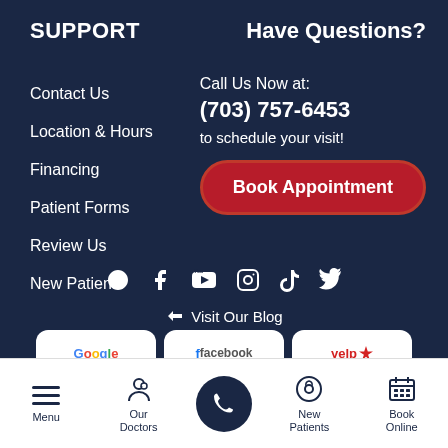SUPPORT
Have Questions?
Contact Us
Location & Hours
Financing
Patient Forms
Review Us
New Patients
Call Us Now at:
(703) 757-6453
to schedule your visit!
Book Appointment
[Figure (infographic): Social media icons row: Yelp, Facebook, YouTube, Instagram, TikTok, Twitter]
Visit Our Blog
[Figure (infographic): Review badges: Google, Facebook, Yelp]
Menu | Our Doctors | (phone) | New Patients | Book Online